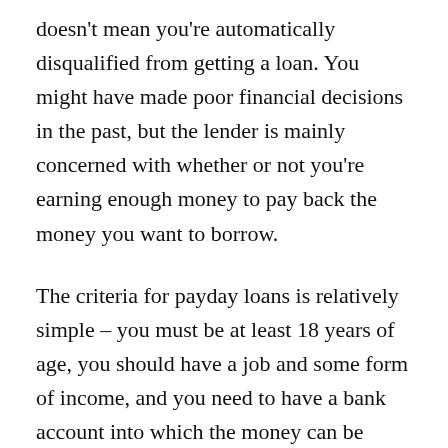doesn't mean you're automatically disqualified from getting a loan. You might have made poor financial decisions in the past, but the lender is mainly concerned with whether or not you're earning enough money to pay back the money you want to borrow.
The criteria for payday loans is relatively simple – you must be at least 18 years of age, you should have a job and some form of income, and you need to have a bank account into which the money can be paid.